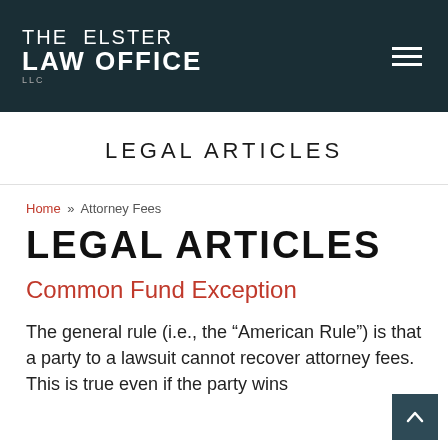THE ELSTER LAW OFFICE LLC
LEGAL ARTICLES
Home » Attorney Fees
LEGAL ARTICLES
Common Fund Exception
The general rule (i.e., the “American Rule”) is that a party to a lawsuit cannot recover attorney fees. This is true even if the party wins